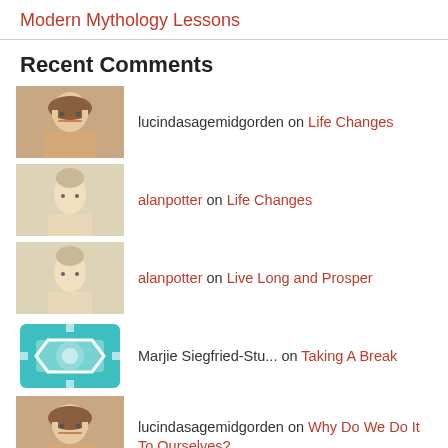Modern Mythology Lessons
Recent Comments
lucindasagemidgorden on Life Changes
alanpotter on Life Changes
alanpotter on Live Long and Prosper
Marjie Siegfried-Stu... on Taking A Break
lucindasagemidgorden on Why Do We Do It To Ourselves?
Blogroll
Discuss